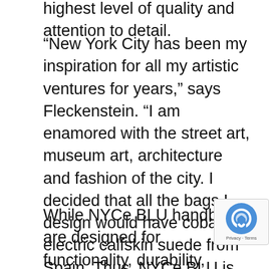highest level of quality and attention to detail.
“New York City has been my inspiration for all my artistic ventures for years,” says Fleckenstein. “I am enamored with the street art, museum art, architecture and fashion of the city. I decided that all the bags I design would have cobalt electric calfskin suede from Spain. Thus, NYCe BLU is the name of my company.”
While NYCe BLU handbags are designed for functionality, durability, quality and versatility, they have so much more to offer than some of the more traditional brands on the market. Fleckenstein is an artist and a designer, first and foremost, and she pours her unique vision and creativity into every bag she designs. She believes that artwork should be integrated into fashion, not just displayed on the walls of museums and galleries.